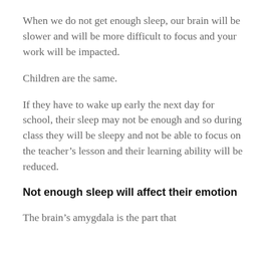When we do not get enough sleep, our brain will be slower and will be more difficult to focus and your work will be impacted.
Children are the same.
If they have to wake up early the next day for school, their sleep may not be enough and so during class they will be sleepy and not be able to focus on the teacher's lesson and their learning ability will be reduced.
Not enough sleep will affect their emotion
The brain's amygdala is the part that